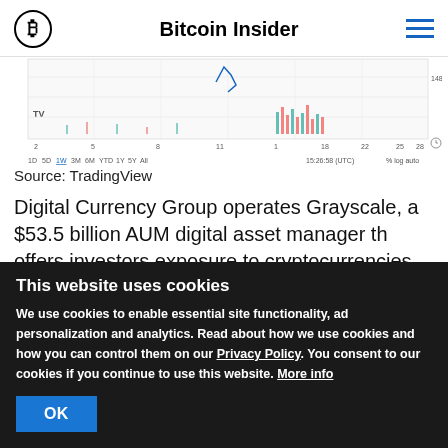Bitcoin Insider
[Figure (continuous-plot): TradingView financial chart showing price/volume data with blue and red/green bars, time axis from 2 to Dec, value around 148.00]
Source: TradingView
Digital Currency Group operates Grayscale, a $53.5 billion AUM digital asset manager th offers investors exposure to cryptocurrencies through its trusts. The
This website uses cookies
We use cookies to enable essential site functionality, ad personalization and analytics. Read about how we use cookies and how you can control them on our Privacy Policy. You consent to our cookies if you continue to use this website. More info
OK